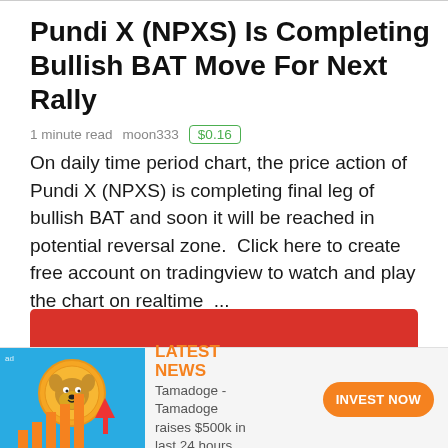Pundi X (NPXS) Is Completing Bullish BAT Move For Next Rally
1 minute read   moon333   $0.16
On daily time period chart, the price action of Pundi X (NPXS) is completing final leg of bullish BAT and soon it will be reached in potential reversal zone.  Click here to create free account on tradingview to watch and play the chart on realtime  ...
[Figure (screenshot): Red banner advertisement area partially visible, showing top of a crypto charting or trading platform ad]
[Figure (infographic): Tamadoge advertisement banner with dog coin logo graphic, 'LATEST NEWS' text in orange, description 'Tamadoge - Tamadoge raises $500k in last 24 hours', and orange 'INVEST NOW' button]